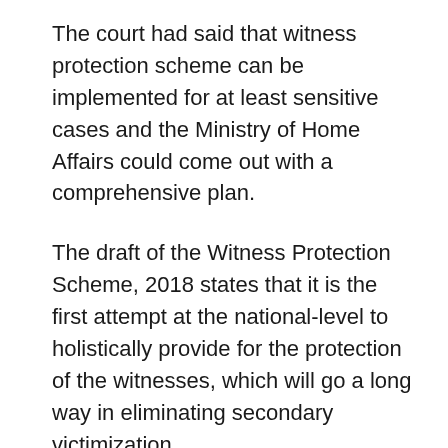The court had said that witness protection scheme can be implemented for at least sensitive cases and the Ministry of Home Affairs could come out with a comprehensive plan.
The draft of the Witness Protection Scheme, 2018 states that it is the first attempt at the national-level to holistically provide for the protection of the witnesses, which will go a long way in eliminating secondary victimization.
The witnesses, being eyes and ears of justice, play an important role in bringing perpetrators of crime to justice, the draft noted.
“This scheme attempts at ensuring that witnesses receive appropriate and adequate protection. This will go a long way in strengthening the criminal justice system in the